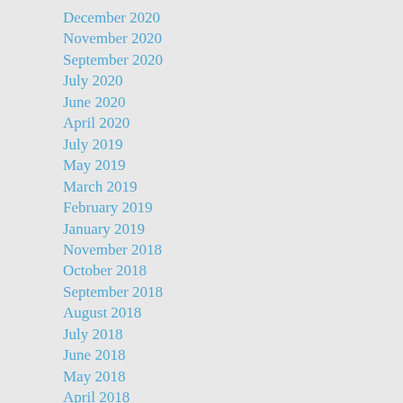December 2020
November 2020
September 2020
July 2020
June 2020
April 2020
July 2019
May 2019
March 2019
February 2019
January 2019
November 2018
October 2018
September 2018
August 2018
July 2018
June 2018
May 2018
April 2018
March 2018